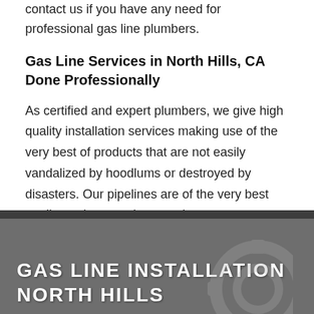contact us if you have any need for professional gas line plumbers.
Gas Line Services in North Hills, CA Done Professionally
As certified and expert plumbers, we give high quality installation services making use of the very best of products that are not easily vandalized by hoodlums or destroyed by disasters. Our pipelines are of the very best quality and we set them up the way any qualified professionals would. All you have to do to have our services is to contact us and in not time, we will be there at your service.
[Figure (photo): Dark gray banner image with white bold uppercase text reading GAS LINE INSTALLATION NORTH HILLS, with a partial view of industrial equipment or pipes in the lower right.]